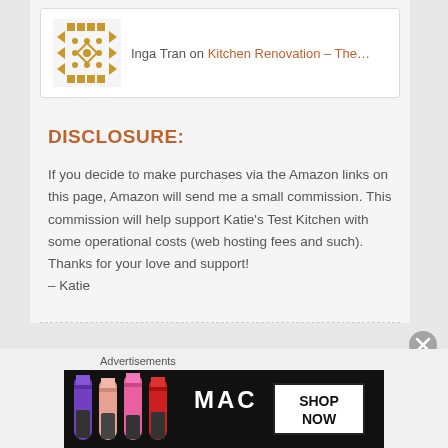[Figure (illustration): User avatar with decorative gold geometric/Aztec pattern]
Inga Tran on Kitchen Renovation – The…
DISCLOSURE:
If you decide to make purchases via the Amazon links on this page, Amazon will send me a small commission. This commission will help support Katie's Test Kitchen with some operational costs (web hosting fees and such). Thanks for your love and support!
– Katie
[Figure (advertisement): MAC cosmetics advertisement showing lipsticks with SHOP NOW button]